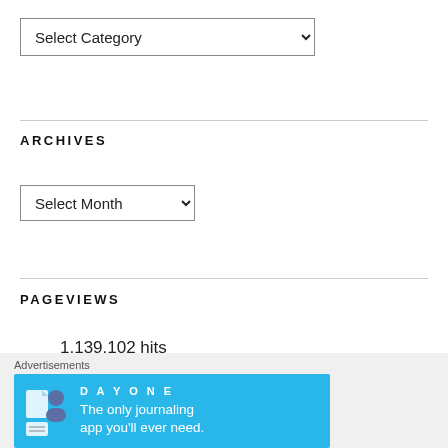[Figure (screenshot): A 'Select Category' dropdown selector widget with a chevron arrow on the right.]
ARCHIVES
[Figure (screenshot): A 'Select Month' dropdown selector widget with a chevron arrow on the right.]
PAGEVIEWS
1,139,102 hits
Advertisements
[Figure (illustration): DAY ONE journaling app advertisement banner in blue. Shows 'DAY ONE' text logo, three app icons (document, person, document with lines) and text 'The only journaling app you'll ever need.']